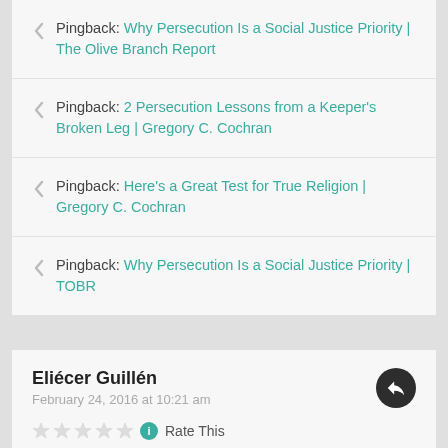Pingback: Why Persecution Is a Social Justice Priority | The Olive Branch Report
Pingback: 2 Persecution Lessons from a Keeper's Broken Leg | Gregory C. Cochran
Pingback: Here's a Great Test for True Religion | Gregory C. Cochran
Pingback: Why Persecution Is a Social Justice Priority | TOBR
Eliécer Guillén
February 24, 2016 at 10:21 am
Rate This
Social Justice?.
No every Reformed is a Trickle-down economies...